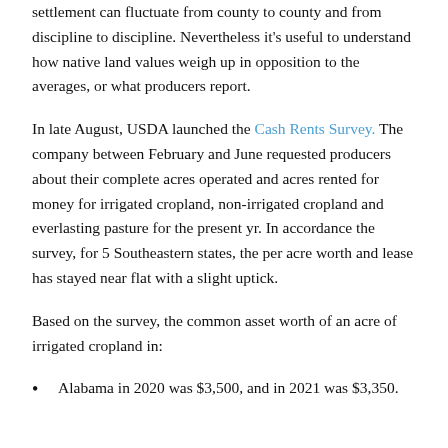settlement can fluctuate from county to county and from discipline to discipline. Nevertheless it's useful to understand how native land values weigh up in opposition to the averages, or what producers report.
In late August, USDA launched the Cash Rents Survey. The company between February and June requested producers about their complete acres operated and acres rented for money for irrigated cropland, non-irrigated cropland and everlasting pasture for the present yr. In accordance the survey, for 5 Southeastern states, the per acre worth and lease has stayed near flat with a slight uptick.
Based on the survey, the common asset worth of an acre of irrigated cropland in:
Alabama in 2020 was $3,500, and in 2021 was $3,350.